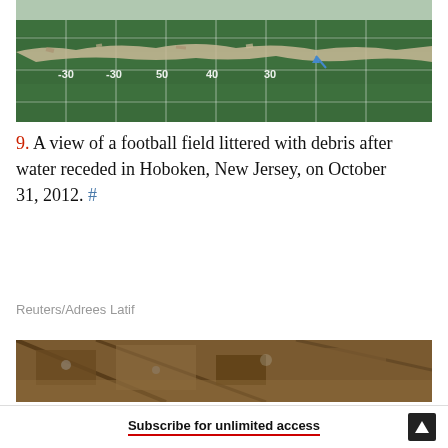[Figure (photo): Aerial view of a football field littered with debris after floodwater receded. Field markings visible: -30, -30, 50, 40, 30.]
9. A view of a football field littered with debris after water receded in Hoboken, New Jersey, on October 31, 2012. #
Reuters/Adrees Latif
[Figure (photo): Aerial view of fire or storm damage to a structure, showing debris and destroyed roof.]
Subscribe for unlimited access